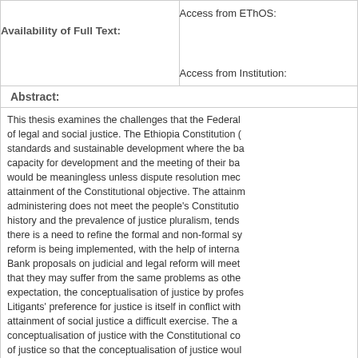| Availability of Full Text: | Access from EThOS: / Access from Institution: |
| --- | --- |
|  | Access from EThOS:

Access from Institution: |
Abstract:
This thesis examines the challenges that the Federal... of legal and social justice. The Ethiopia Constitution (... standards and sustainable development where the ba... capacity for development and the meeting of their ba... would be meaningless unless dispute resolution mec... attainment of the Constitutional objective. The attainm... administering does not meet the people's Constitutio... history and the prevalence of justice pluralism, tends... there is a need to refine the formal and non-formal sy... reform is being implemented, with the help of interna... Bank proposals on judicial and legal reform will meet... that they may suffer from the same problems as othe... expectation, the conceptualisation of justice by profes... Litigants' preference for justice is itself in conflict with... attainment of social justice a difficult exercise. The a... conceptualisation of justice with the Constitutional co... of justice so that the conceptualisation of justice wou... and to the sustainability of justice and development.
| Supervisor: | Not available |
| --- | --- |
| Supervisor: | Not available |